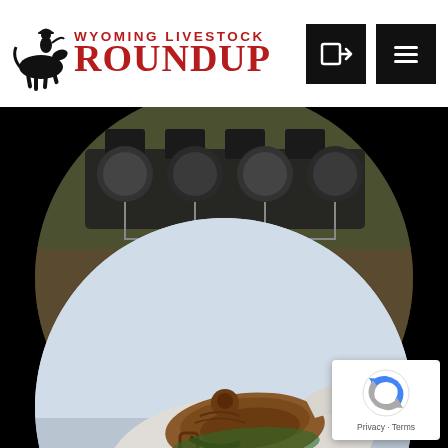[Figure (logo): Wyoming Livestock Roundup logo with cowboy on bucking horse silhouette and red text]
[Figure (photo): Circular cropped photo of farm equipment working in a dusty field, with MARKETS text overlay]
[Figure (photo): Circular cropped photo of a horse with a western saddle against a light sky background, partially visible at bottom of page]
[Figure (other): Google reCAPTCHA badge with Privacy and Terms links]